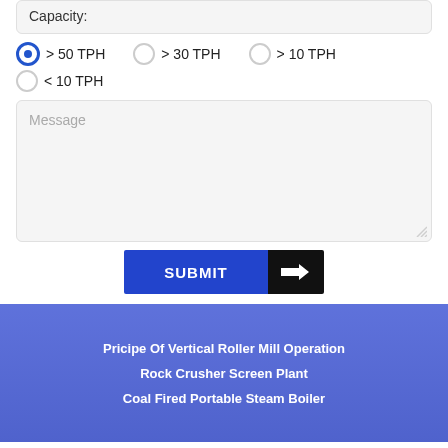Capacity:
> 50 TPH (selected)
> 30 TPH
> 10 TPH
< 10 TPH
Message
SUBMIT
Pricipe Of Vertical Roller Mill Operation
Rock Crusher Screen Plant
Coal Fired Portable Steam Boiler